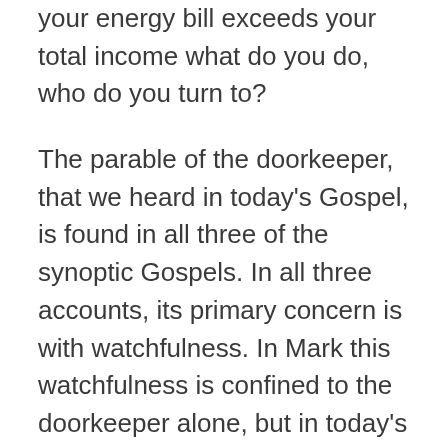your energy bill exceeds your total income what do you do, who do you turn to?
The parable of the doorkeeper, that we heard in today's Gospel, is found in all three of the synoptic Gospels. In all three accounts, its primary concern is with watchfulness. In Mark this watchfulness is confined to the doorkeeper alone, but in today's passage from Luke it extends to all the servants. They have a collective responsibility to watch. So our Gospel is about the collective responsibility that we have as a community, as well as as individuals, to be ever watchful for the coming of the Son of Man and the Kingdom of God.